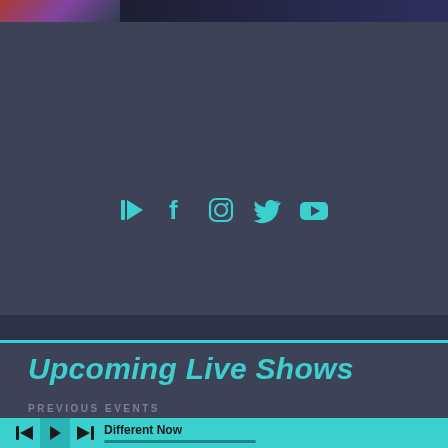[Figure (screenshot): Top image banner with concert/event imagery on dark background]
[Figure (infographic): Social media icons row: play/streaming icon, Facebook, Instagram, Twitter, YouTube in teal color]
Upcoming Live Shows
PREVIOUS EVENTS
Different Now